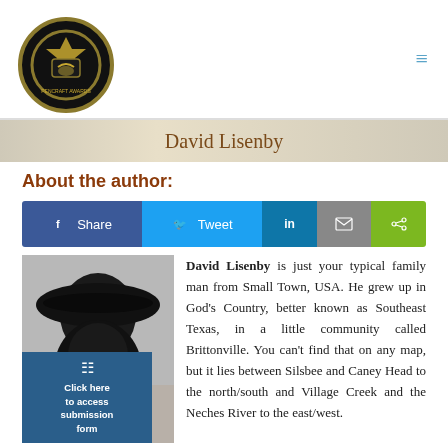Pencraft Awards logo and navigation
David Lisenby
About the author:
[Figure (infographic): Social sharing bar with Facebook Share, Twitter Tweet, LinkedIn, email, and generic share buttons]
[Figure (photo): Author photo: silhouette of a person wearing a wide-brimmed hat, with a Click here to access submission form overlay button]
David Lisenby is just your typical family man from Small Town, USA. He grew up in God's Country, better known as Southeast Texas, in a little community called Brittonville. You can't find that on any map, but it lies between Silsbee and Caney Head to the north/south and Village Creek and the Neches River to the east/west. He spent his early life chasing rainbows and